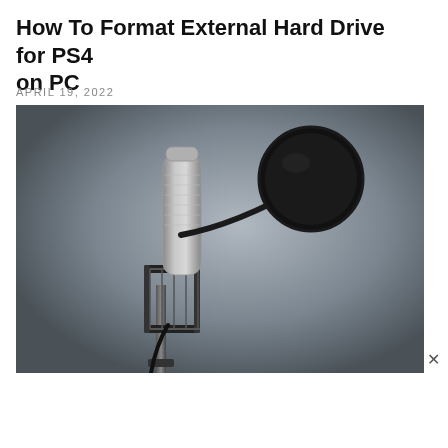How To Format External Hard Drive for PS4 on PC
APRIL 19, 2022
[Figure (photo): Studio condenser microphone on a stand with a pop filter/shield in front, against a grey gradient background]
[Figure (infographic): Capital Home Show advertisement banner: dark red background on left with white text 'CAPITAL HOME SHOW', colorful brush graphic in center, light background on right with dark red bold text 'SEPT. 23-2', 'DULLES EXPO CENTE', and gold/green bar reading 'See hundreds of exhibi']